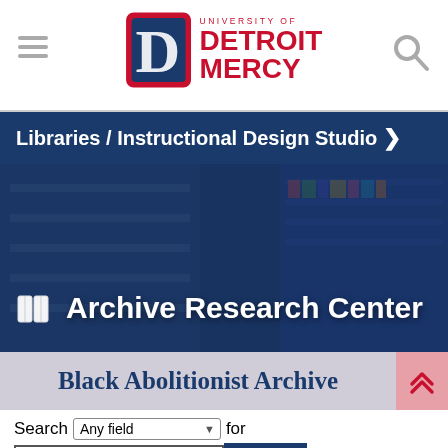[Figure (logo): University of Detroit Mercy logo with ornate D letter and red text]
Libraries / Instructional Design Studio >
[Figure (photo): Library interior with bookshelves, overlaid with dark blue tint, showing Archive Research Center branding]
Black Abolitionist Archive
Search [Any field dropdown] for "Garnet, Henry Highland, 1 SEARCH